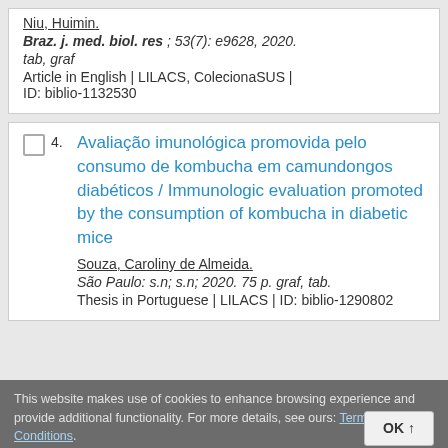Niu, Huimin.
Braz. j. med. biol. res ; 53(7): e9628, 2020. tab, graf
Article in English | LILACS, ColecionaSUS | ID: biblio-1132530
4. Avaliação imunológica promovida pelo consumo de kombucha em camundongos diabéticos / Immunologic evaluation promoted by the consumption of kombucha in diabetic mice
Souza, Caroliny de Almeida.
São Paulo: s.n; s.n; 2020. 75 p. graf, tab.
Thesis in Portuguese | LILACS | ID: biblio-1290802
This website makes use of cookies to enhance browsing experience and provide additional functionality. For more details, see ours: Terms and Conditions.